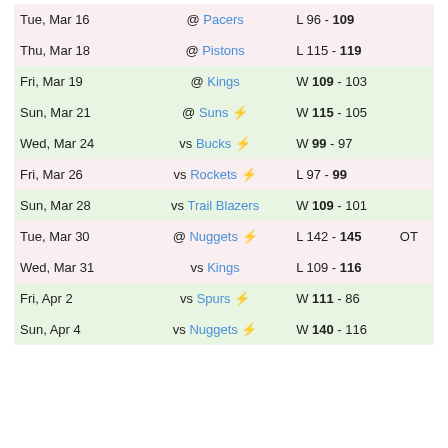| Date | Opponent | Result |  |
| --- | --- | --- | --- |
| Tue, Mar 16 | @ Pacers | L 96 - 109 |  |
| Thu, Mar 18 | @ Pistons | L 115 - 119 |  |
| Fri, Mar 19 | @ Kings | W 109 - 103 |  |
| Sun, Mar 21 | @ Suns ⚡ | W 115 - 105 |  |
| Wed, Mar 24 | vs Bucks ⚡ | W 99 - 97 |  |
| Fri, Mar 26 | vs Rockets ⚡ | L 97 - 99 |  |
| Sun, Mar 28 | vs Trail Blazers | W 109 - 101 |  |
| Tue, Mar 30 | @ Nuggets ⚡ | L 142 - 145 | OT |
| Wed, Mar 31 | vs Kings | L 109 - 116 |  |
| Fri, Apr 2 | vs Spurs ⚡ | W 111 - 86 |  |
| Sun, Apr 4 | vs Nuggets ⚡ | W 140 - 116 |  |